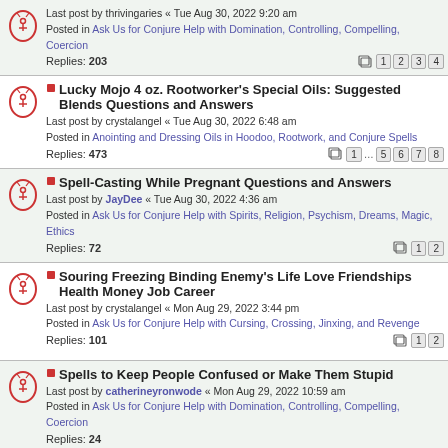Last post by thrivingaries « Tue Aug 30, 2022 9:20 am
Posted in Ask Us for Conjure Help with Domination, Controlling, Compelling, Coercion
Replies: 203  [1][2][3][4]
Lucky Mojo 4 oz. Rootworker's Special Oils: Suggested Blends Questions and Answers
Last post by crystalangel « Tue Aug 30, 2022 6:48 am
Posted in Anointing and Dressing Oils in Hoodoo, Rootwork, and Conjure Spells
Replies: 473  [1]...[5][6][7][8]
Spell-Casting While Pregnant Questions and Answers
Last post by JayDee « Tue Aug 30, 2022 4:36 am
Posted in Ask Us for Conjure Help with Spirits, Religion, Psychism, Dreams, Magic, Ethics
Replies: 72  [1][2]
Souring Freezing Binding Enemy's Life Love Friendships Health Money Job Career
Last post by crystalangel « Mon Aug 29, 2022 3:44 pm
Posted in Ask Us for Conjure Help with Cursing, Crossing, Jinxing, and Revenge
Replies: 101  [1][2]
Spells to Keep People Confused or Make Them Stupid
Last post by catherineyronwode « Mon Aug 29, 2022 10:59 am
Posted in Ask Us for Conjure Help with Domination, Controlling, Compelling, Coercion
Replies: 24
Master Oil Questions and Answers
Last post by crystalangel « Mon Aug 29, 2022 9:39 am